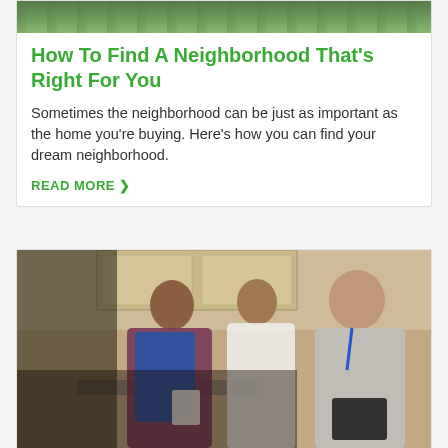[Figure (photo): Aerial view of a neighborhood with green trees and roads]
How To Find A Neighborhood That's Right For You
Sometimes the neighborhood can be just as important as the home you're buying. Here's how you can find your dream neighborhood.
READ MORE ›
[Figure (photo): Three people — a couple and a real estate agent — talking inside a home kitchen during a house showing]